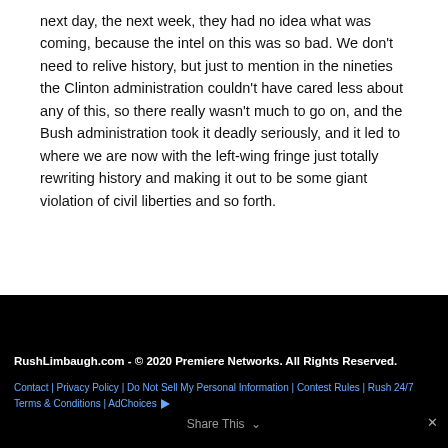next day, the next week, they had no idea what was coming, because the intel on this was so bad. We don't need to relive history, but just to mention in the nineties the Clinton administration couldn't have cared less about any of this, so there really wasn't much to go on, and the Bush administration took it deadly seriously, and it led to where we are now with the left-wing fringe just totally rewriting history and making it out to be some giant violation of civil liberties and so forth.
RushLimbaugh.com - © 2020 Premiere Networks. All Rights Reserved.
Contact | Privacy Policy | Do Not Sell My Personal Information | Contest Rules | Rush 24/7 Terms & Conditions | AdChoices ▷
Share This ∨  ✕